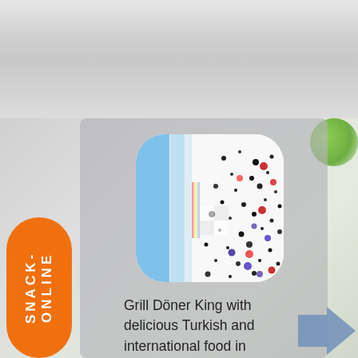[Figure (screenshot): App screenshot showing a food delivery app icon with blue stripes and scattered colorful food particles on white background, with rounded corners]
SNACK-ONLINE
Grill Döner King with delicious Turkish and international food in Emden. Grill Döner King offers all kinds of
[Figure (illustration): Blue arrow/chevron pointing right, navigation element]